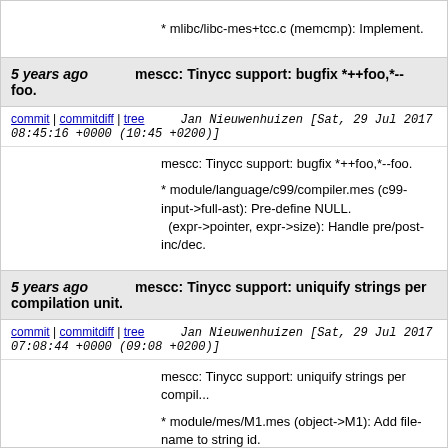* mlibc/libc-mes+tcc.c (memcmp): Implement.
5 years ago   mescc: Tinycc support: bugfix *++foo,*--foo.
commit | commitdiff | tree   Jan Nieuwenhuizen [Sat, 29 Jul 2017 08:45:16 +0000 (10:45 +0200)]
mescc: Tinycc support: bugfix *++foo,*--foo.

* module/language/c99/compiler.mes (c99-input->full-ast): Pre-define NULL.
  (expr->pointer, expr->size): Handle pre/post-inc/dec.
5 years ago   mescc: Tinycc support: uniquify strings per compilation unit.
commit | commitdiff | tree   Jan Nieuwenhuizen [Sat, 29 Jul 2017 07:08:44 +0000 (09:08 +0200)]
mescc: Tinycc support: uniquify strings per compil...

* module/mes/M1.mes (object->M1): Add file-name to string id.
5 years ago   mescc: Tinycc support: foo.bar = foo.baz =